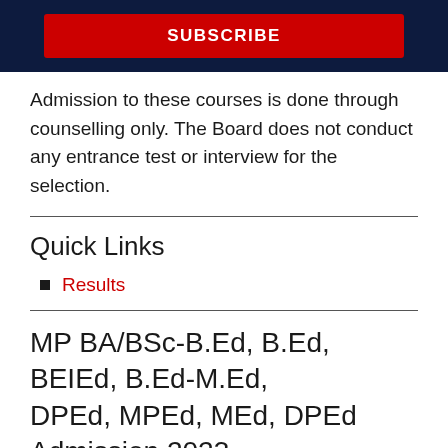[Figure (other): Dark navy blue banner with a red SUBSCRIBE button]
Admission to these courses is done through counselling only. The Board does not conduct any entrance test or interview for the selection.
Quick Links
Results
MP BA/BSc-B.Ed, B.Ed, BEIEd, B.Ed-M.Ed, DPEd, MPEd, MEd, DPEd Admission 2023